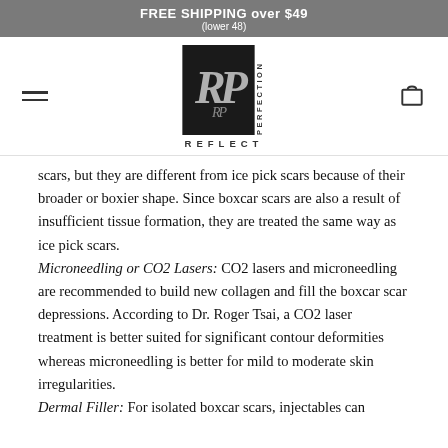FREE SHIPPING over $49
(lower 48)
[Figure (logo): Reflect Perfection logo with RP monogram on dark background with vertical text PERFECTION and horizontal text REFLECT]
scars, but they are different from ice pick scars because of their broader or boxier shape. Since boxcar scars are also a result of insufficient tissue formation, they are treated the same way as ice pick scars.
Microneedling or CO2 Lasers: CO2 lasers and microneedling are recommended to build new collagen and fill the boxcar scar depressions. According to Dr. Roger Tsai, a CO2 laser treatment is better suited for significant contour deformities whereas microneedling is better for mild to moderate skin irregularities.
Dermal Filler: For isolated boxcar scars, injectables can